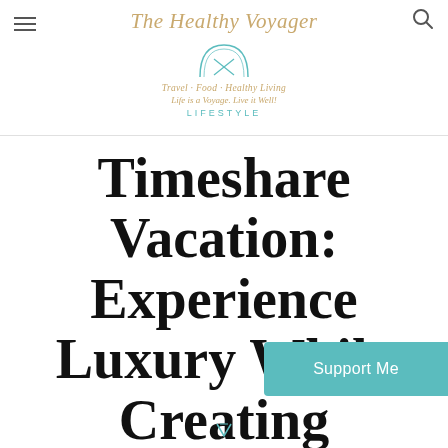The Healthy Voyager — Travel · Food · Healthy Living — Life is a Voyage. Live it Well! — LIFESTYLE
Timeshare Vacation: Experience Luxury While Creating Memories